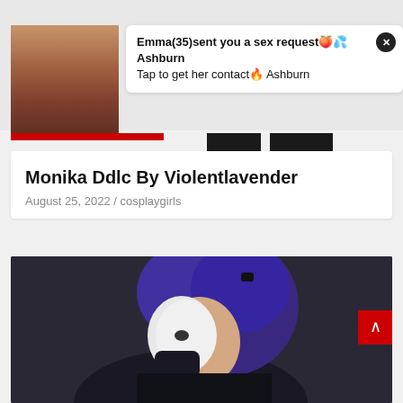[Figure (screenshot): Top portion showing a partial image with reddish-brown tones at top, partially obscured.]
[Figure (screenshot): Notification popup with thumbnail image of a woman. Text reads: Emma(35)sent you a sex request with emojis, Ashburn. Tap to get her contact with fire emoji, Ashburn. Close button (x) in top right.]
Monika Ddlc By Violentlavender
August 25, 2022 / cosplaygirls
[Figure (photo): Photo of a cosplay girl with purple/blue hair holding a white mask, wearing dark clothing, against a dark background. A red scroll-to-top button is visible on the right side.]